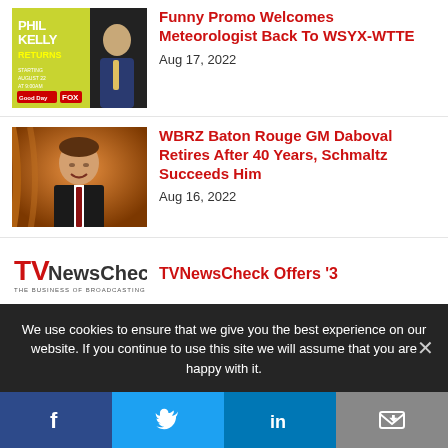[Figure (photo): Phil Kelly Returns promo image with TV station logo Good Day]
Funny Promo Welcomes Meteorologist Back To WSYX-WTTE
Aug 17, 2022
[Figure (photo): Portrait of man in dark suit against orange curtain background]
WBRZ Baton Rouge GM Daboval Retires After 40 Years, Schmaltz Succeeds Him
Aug 16, 2022
[Figure (logo): TVNewsCheck - The Business of Broadcasting logo]
TVNewsCheck Offers '3
We use cookies to ensure that we give you the best experience on our website. If you continue to use this site we will assume that you are happy with it.